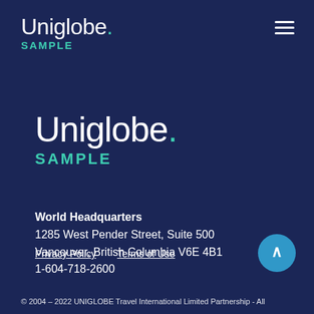Uniglobe. SAMPLE
[Figure (logo): Uniglobe. SAMPLE logo — large version centered in the page body, white text with teal dot and teal SAMPLE lettering on dark navy background]
World Headquarters
1285 West Pender Street, Suite 500
Vancouver, British Columbia V6E 4B1
1-604-718-2600
Privacy Policy   Terms of Use
© 2004 – 2022 UNIGLOBE Travel International Limited Partnership - All